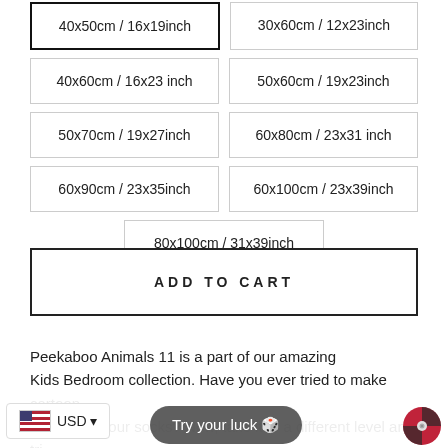40x50cm / 16x19inch
30x60cm / 12x23inch
40x60cm / 16x23 inch
50x60cm / 19x23inch
50x70cm / 19x27inch
60x80cm / 23x31 inch
60x90cm / 23x35inch
60x100cm / 23x39inch
80x100cm / 31x39inch
ADD TO CART
Peekaboo Animals 11 is a part of our amazing Kids Bedroom collection. Have you ever tried to make cartoon faces with your socks? Now, take it to a different level and tri... ces with our a... ar... rs kit. Let you... aug... smile. Gift these kits to your loved ones and let them release all